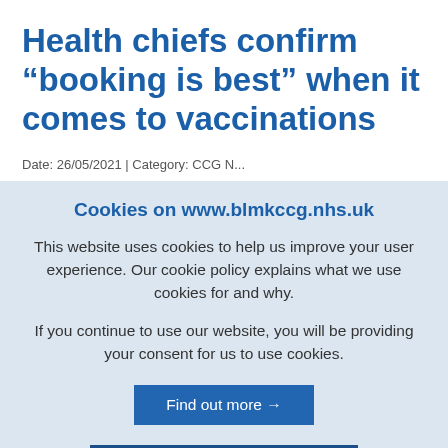Health chiefs confirm “booking is best” when it comes to vaccinations
Date: 26/05/2021 | Category: CCG N...
Cookies on www.blmkccg.nhs.uk
This website uses cookies to help us improve your user experience. Our cookie policy explains what we use cookies for and why.
If you continue to use our website, you will be providing your consent for us to use cookies.
Find out more →
I accept cookies from this site ✓